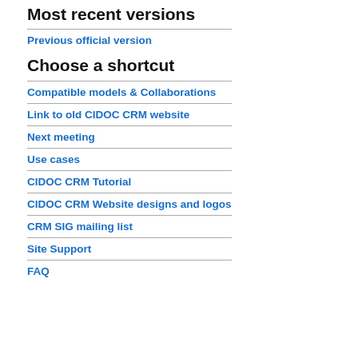Most recent versions
Previous official version
Choose a shortcut
Compatible models & Collaborations
Link to old CIDOC CRM website
Next meeting
Use cases
CIDOC CRM Tutorial
CIDOC CRM Website designs and logos
CRM SIG mailing list
Site Support
FAQ